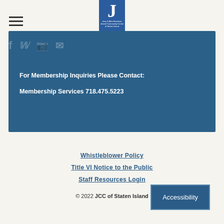JCC of Staten Island logo and navigation
[Figure (logo): JCC logo — blue box with large J and text 'Joan & Alan Bernikow Jewish Community Center of Staten Island']
For Membership Inquiries Please Contact:
Membership Services 718.475.5223
Whistleblower Policy
Title VI Notice to the Public
Staff Resources Login
© 2022 JCC of Staten Island
Accessibility